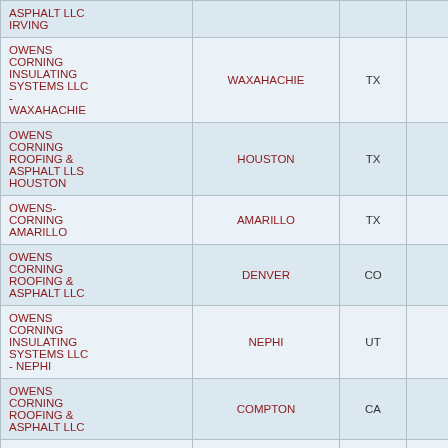| Name | City | State | Number |
| --- | --- | --- | --- |
| ASPHALT LLC IRVING |  |  |  |
| OWENS CORNING INSULATING SYSTEMS LLC - WAXAHACHIE | WAXAHACHIE | TX | 57,48... |
| OWENS CORNING ROOFING & ASPHALT LLS HOUSTON | HOUSTON | TX |  |
| OWENS-CORNING AMARILLO | AMARILLO | TX | 147,33... |
| OWENS CORNING ROOFING & ASPHALT LLC | DENVER | CO |  |
| OWENS CORNING INSULATING SYSTEMS LLC - NEPHI | NEPHI | UT | 1... |
| OWENS CORNING ROOFING & ASPHALT LLC | COMPTON | CA |  |
| OWENS CORNING | SANTA CLARA | CA | 25... |